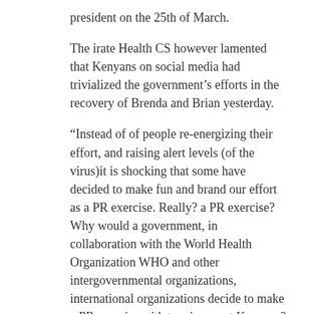president on the 25th of March.
The irate Health CS however lamented that Kenyans on social media had trivialized the government's efforts in the recovery of Brenda and Brian yesterday.
“Instead of of people re-energizing their effort, and raising alert levels (of the virus)it is shocking that some have decided to make fun and brand our effort as a PR exercise. Really? a PR exercise? Why would a government, in collaboration with the World Health Organization WHO and other intergovernmental organizations, international organizations decide to make a PR exercise with two innocent Kenyans? It is unpalatable! It is archaic and retrogressive for anyone to trivialize the lives of Kenyans, even one Kenyan.”
“I appeal to the media not to slight these matters. And I appeal to our enforcement agencies to arrest social media users. It is wrong and it should not happen”.